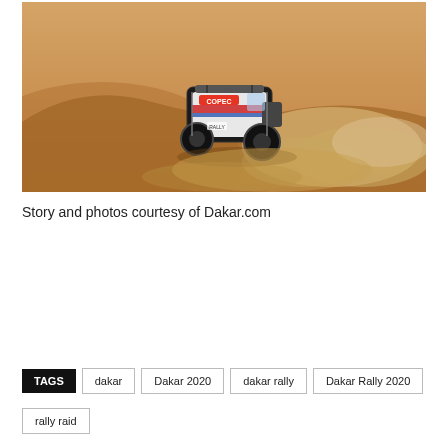[Figure (photo): A racing buggy with Copec branding speeding through sand dunes at the Dakar Rally, kicking up large clouds of sand/dust.]
Story and photos courtesy of Dakar.com
TAGS: dakar | Dakar 2020 | dakar rally | Dakar Rally 2020 | rally raid